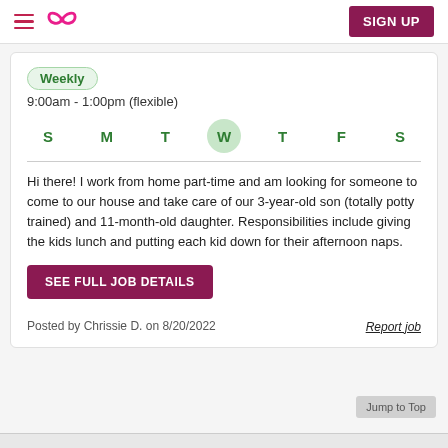SIGN UP
Weekly
9:00am - 1:00pm (flexible)
S M T W T F S
Hi there! I work from home part-time and am looking for someone to come to our house and take care of our 3-year-old son (totally potty trained) and 11-month-old daughter. Responsibilities include giving the kids lunch and putting each kid down for their afternoon naps.
SEE FULL JOB DETAILS
Posted by Chrissie D. on 8/20/2022
Report job
Jump to Top